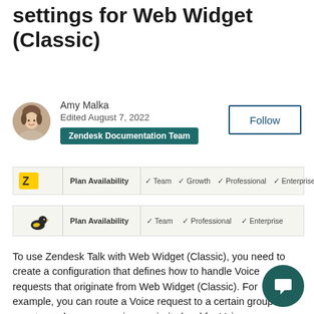settings for Web Widget (Classic)
Amy Malka
Edited August 7, 2022
Zendesk Documentation Team
Follow
| Plan Availability | Team | Growth | Professional | Enterprise | Enterprise Plus |
| --- | --- | --- | --- | --- | --- |
|  |
| Plan Availability | Team | Professional | Enterprise |
| --- | --- | --- | --- |
|  |
To use Zendesk Talk with Web Widget (Classic), you need to create a configuration that defines how to handle Voice requests that originate from Web Widget (Classic). For example, you can route a Voice request to a certain group of agents, and you can assign a priority level for Voice requests.